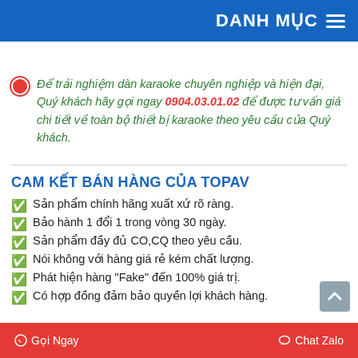DANH MỤC
Để trải nghiệm dàn karaoke chuyên nghiệp và hiện đại, Quý khách hãy gọi ngay 0904.03.01.02 để được tư vấn giá chi tiết về toàn bộ thiết bị karaoke theo yêu cầu của Quý khách.
CAM KẾT BÁN HÀNG CỦA TOPAV
Sản phẩm chính hãng xuất xứ rõ ràng.
Bảo hành 1 đổi 1 trong vòng 30 ngày.
Sản phẩm đầy đủ CO,CQ theo yêu cầu.
Nói không với hàng giá rẻ kém chất lượng.
Phát hiện hàng "Fake" đến 100% giá trị.
Có hợp đồng đảm bảo quyền lợi khách hàng.
Gọi Ngay   Chat Zalo